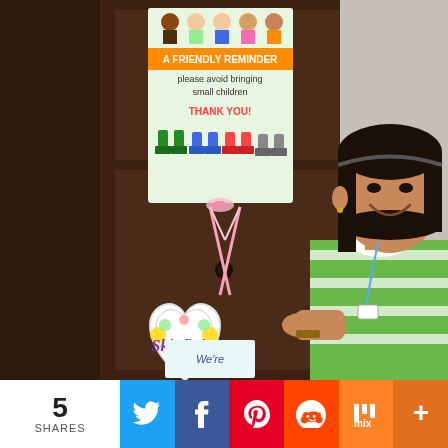[Figure (photo): A smiling woman in a green and white striped polo shirt holds a heart-shaped decorative sign reading 'Skinfinity' with floral designs and pink ribbon. Behind her is a dark brown door with a sign reading 'A FRIENDLY REMINDER please avoid bringing small children THANK YOU!' with cartoon children illustrations.]
5 SHARES